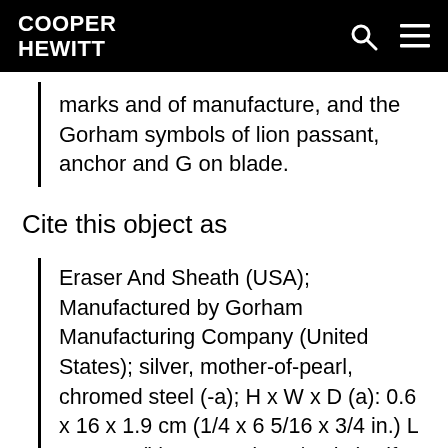COOPER HEWITT
marks and of manufacture, and the Gorham symbols of lion passant, anchor and G on blade.
Cite this object as
Eraser And Sheath (USA); Manufactured by Gorham Manufacturing Company (United States); silver, mother-of-pearl, chromed steel (-a); H x W x D (a): 0.6 x 16 x 1.9 cm (1/4 x 6 5/16 x 3/4 in.) L x W x D (b): 6.8 cm (2 11/16 in.) Gift of